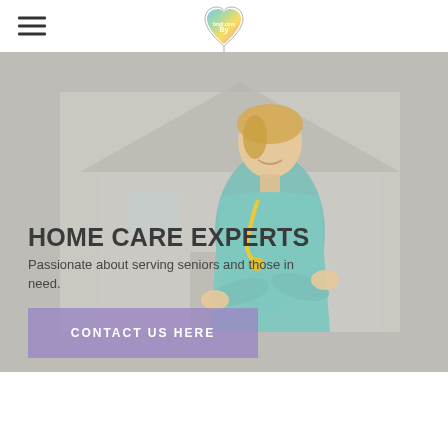[Figure (illustration): Hero section with a blurred house exterior background and a smiling female nurse/caregiver in teal scrubs with a yellow stethoscope, arms crossed, centered in the image]
HOME CARE EXPERTS
Passionate about serving seniors and those in need.
CONTACT US HERE